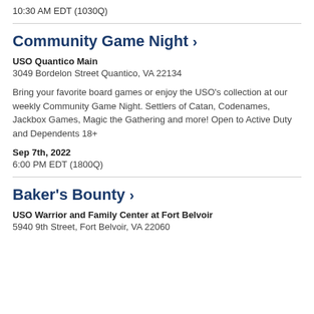10:30 AM EDT (1030Q)
Community Game Night ›
USO Quantico Main
3049 Bordelon Street Quantico, VA 22134
Bring your favorite board games or enjoy the USO's collection at our weekly Community Game Night. Settlers of Catan, Codenames, Jackbox Games, Magic the Gathering and more! Open to Active Duty and Dependents 18+
Sep 7th, 2022
6:00 PM EDT (1800Q)
Baker's Bounty ›
USO Warrior and Family Center at Fort Belvoir
5940 9th Street, Fort Belvoir, VA 22060